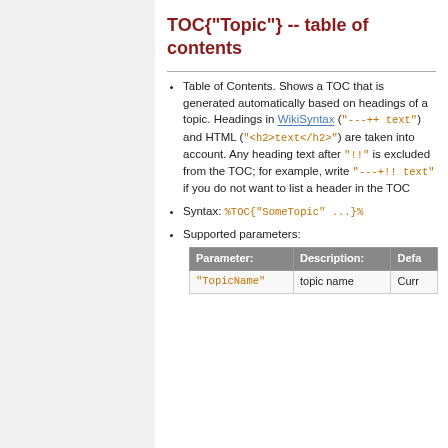TOC{"Topic"} -- table of contents
Table of Contents. Shows a TOC that is generated automatically based on headings of a topic. Headings in WikiSyntax ("---++ text") and HTML ("<h2>text</h2>") are taken into account. Any heading text after "!!" is excluded from the TOC; for example, write "---+!! text" if you do not want to list a header in the TOC
Syntax: %TOC{"SomeTopic" ...}%
Supported parameters:
| Parameter: | Description: | Defa |
| --- | --- | --- |
| "TopicName" | topic name | Curr |